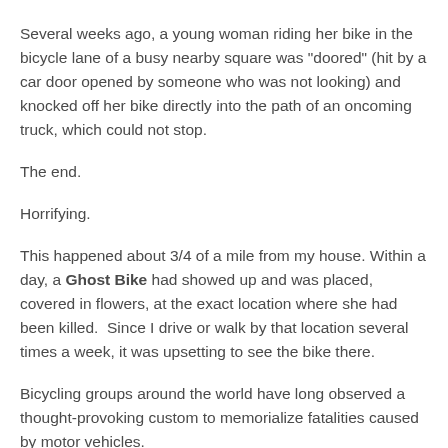Several weeks ago, a young woman riding her bike in the bicycle lane of a busy nearby square was "doored" (hit by a car door opened by someone who was not looking) and knocked off her bike directly into the path of an oncoming truck, which could not stop.
The end.
Horrifying.
This happened about 3/4 of a mile from my house. Within a day, a Ghost Bike had showed up and was placed, covered in flowers, at the exact location where she had been killed.  Since I drive or walk by that location several times a week, it was upsetting to see the bike there.
Bicycling groups around the world have long observed a thought-provoking custom to memorialize fatalities caused by motor vehicles.